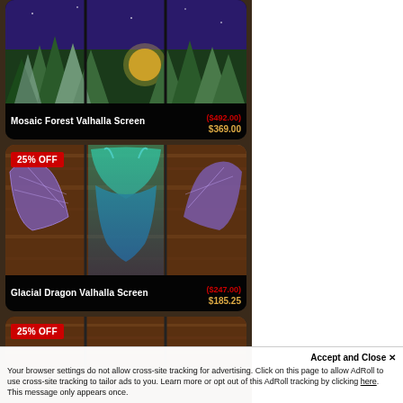[Figure (photo): Mosaic Forest Valhalla Screen product card with dark forest/mountain artwork and sale badge. Title: Mosaic Forest Valhalla Screen. Original price: ($492.00). Sale price: $369.00]
[Figure (photo): Glacial Dragon Valhalla Screen product card with teal/purple dragon artwork. 25% OFF badge. Title: Glacial Dragon Valhalla Screen. Original price: ($247.00). Sale price: $185.25]
[Figure (photo): Third product card partially visible at bottom with 25% OFF badge. Background shows wood-grain texture.]
Accept and Close ×
Your browser settings do not allow cross-site tracking for advertising. Click on this page to allow AdRoll to use cross-site tracking to tailor ads to you. Learn more or opt out of this AdRoll tracking by clicking here. This message only appears once.